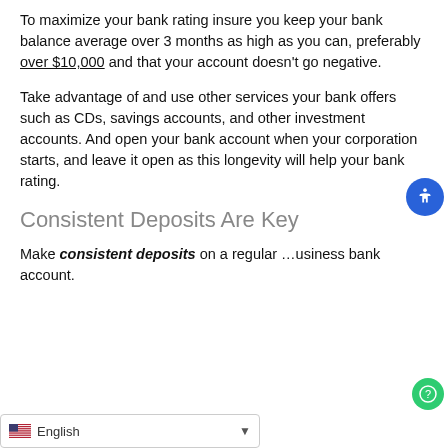To maximize your bank rating insure you keep your bank balance average over 3 months as high as you can, preferably over $10,000 and that your account doesn't go negative.
Take advantage of and use other services your bank offers such as CDs, savings accounts, and other investment accounts. And open your bank account when your corporation starts, and leave it open as this longevity will help your bank rating.
Consistent Deposits Are Key
Make consistent deposits on a regular ... usiness bank account.